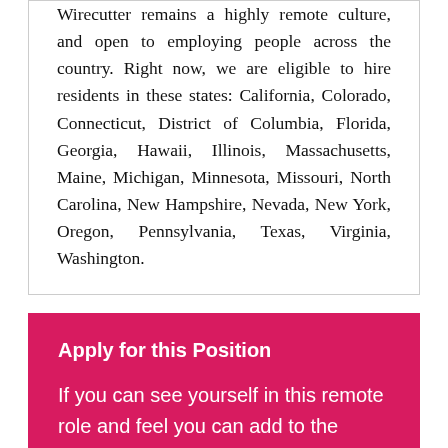Wirecutter remains a highly remote culture, and open to employing people across the country. Right now, we are eligible to hire residents in these states: California, Colorado, Connecticut, District of Columbia, Florida, Georgia, Hawaii, Illinois, Massachusetts, Maine, Michigan, Minnesota, Missouri, North Carolina, New Hampshire, Nevada, New York, Oregon, Pennsylvania, Texas, Virginia, Washington.
Apply for this Position
If you can see yourself in this remote role and feel you can add to the ongoing success of In Marketing We Trust, then apply via https://thewirecutter.com/jobs/